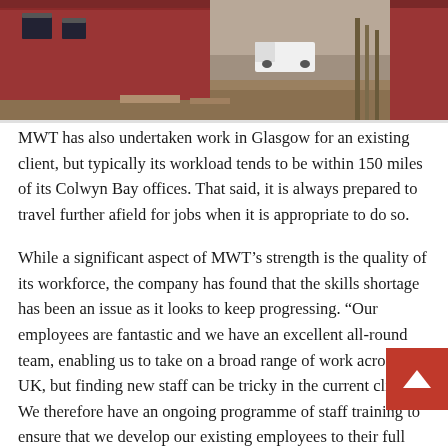[Figure (photo): Photograph of red/terracotta clad buildings under construction or recently completed, with a white van visible in the background and surrounding ground works/trees.]
MWT has also undertaken work in Glasgow for an existing client, but typically its workload tends to be within 150 miles of its Colwyn Bay offices. That said, it is always prepared to travel further afield for jobs when it is appropriate to do so.
While a significant aspect of MWT’s strength is the quality of its workforce, the company has found that the skills shortage has been an issue as it looks to keep progressing. “Our employees are fantastic and we have an excellent all-round team, enabling us to take on a broad range of work across the UK, but finding new staff can be tricky in the current climate. We therefore have an ongoing programme of staff training to ensure that we develop our existing employees to their full potential.
“Both my son and daughter work within the business. My daughter recently joined to help me with the pay roll and